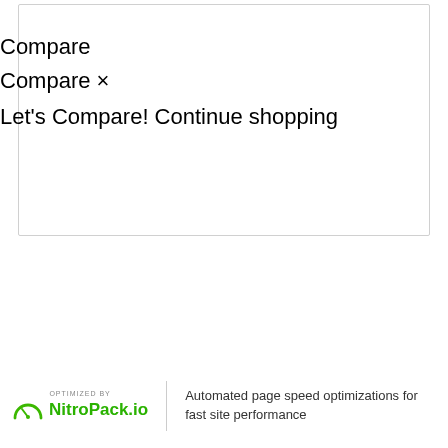Compare
Compare ×
Let's Compare! Continue shopping
[Figure (logo): NitroPack.io logo with speedometer arc in green, text 'OPTIMIZED BY' above 'NitroPack.io']
Automated page speed optimizations for fast site performance